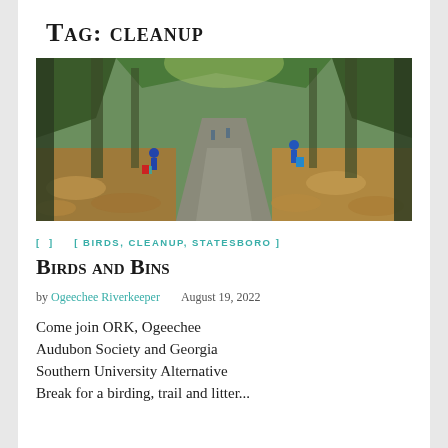Tag: cleanup
[Figure (photo): A trail or path through a wooded area covered with autumn leaves, with people picking up litter in the background on both sides of the path.]
[ ]    [ BIRDS, CLEANUP, STATESBORO ]
Birds and Bins
by Ogeechee Riverkeeper    August 19, 2022
Come join ORK, Ogeechee Audubon Society and Georgia Southern University Alternative Break for a birding, trail and litter...